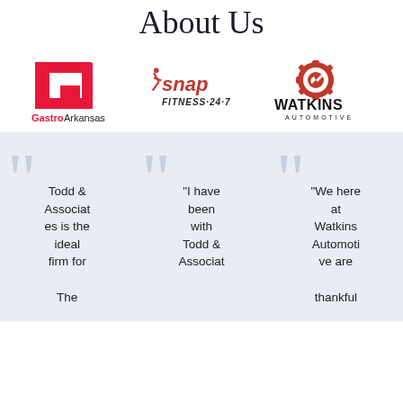About Us
[Figure (logo): GastroArkansas logo - red square bracket G shape with text 'GastroArkansas']
[Figure (logo): Snap Fitness 24-7 logo - red and black text with figure icon]
[Figure (logo): Watkins Automotive logo - red gear with wrench icon and black text 'WATKINS AUTOMOTIVE']
Todd & Associates is the ideal firm for
"I have been with Todd & Associat
"We here at Watkins Automoti ve are